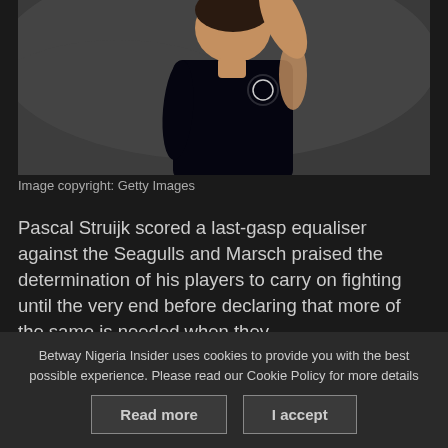[Figure (photo): A person wearing a dark Brentford FC jersey, appearing to celebrate, photographed against a blurred dark background. Getty Images photo.]
Image copyright: Getty Images
Pascal Struijk scored a last-gasp equaliser against the Seagulls and Marsch praised the determination of his players to carry on fighting until the very end before declaring that more of the same is needed when they
Betway Nigeria Insider uses cookies to provide you with the best possible experience. Please read our Cookie Policy for more details
Read more
I accept